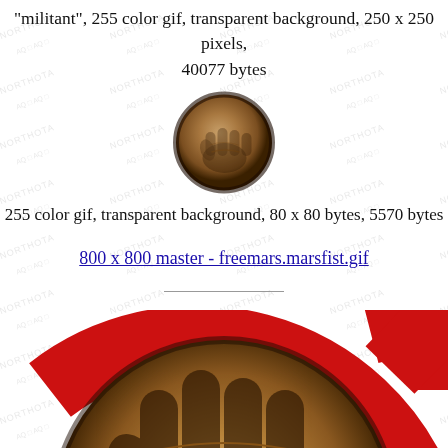"militant", 255 color gif, transparent background, 250 x 250 pixels, 40077 bytes
[Figure (illustration): Small circular image of a fist (Mars fist symbol) with reddish-brown planet texture, approximately 80x80 pixels version]
255 color gif, transparent background, 80 x 80 bytes, 5570 bytes
800 x 800 master - freemars.marsfist.gif
[Figure (illustration): Large circular Mars fist image with red Mars symbol (circle with arrow) overlaid, showing a fist against a planet texture background, partially cropped at bottom of page]